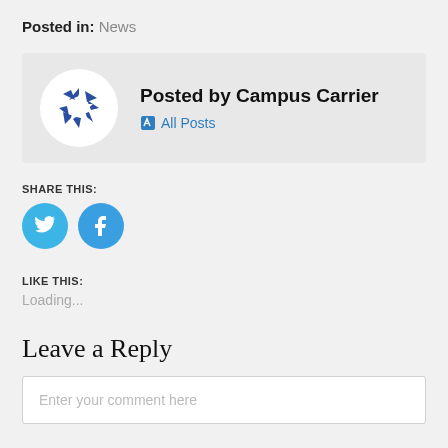Posted in: News
[Figure (logo): Campus Carrier logo with blue star/arrow design on white circle]
Posted by Campus Carrier
All Posts
SHARE THIS:
[Figure (illustration): Twitter and Facebook social share buttons (blue circles with white icons)]
LIKE THIS:
Loading...
Leave a Reply
Enter your comment here